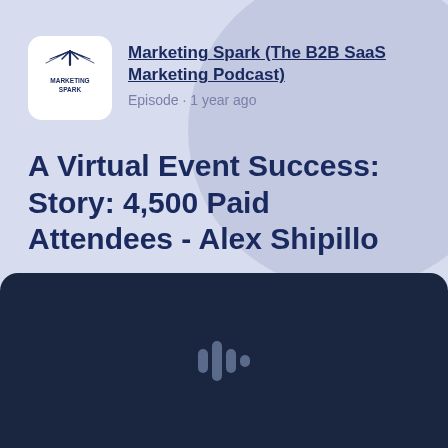[Figure (logo): Marketing Spark podcast logo - white rounded square with stylized spark/starburst icon and text MARKETING SPARK]
Marketing Spark (The B2B SaaS Marketing Podcast)
Episode · 1 year ago
A Virtual Event Success: Story: 4,500 Paid Attendees - Alex Shipillo
[Figure (other): Dark navy podcast audio player box with a podcast microphone waveform icon in the center]